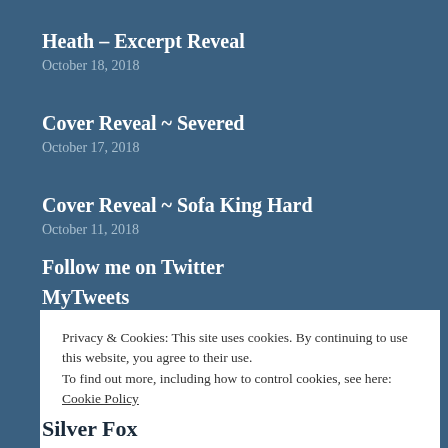Heath – Excerpt Reveal
October 18, 2018
Cover Reveal ~ Severed
October 17, 2018
Cover Reveal ~ Sofa King Hard
October 11, 2018
Follow me on Twitter
MyTweets
Privacy & Cookies: This site uses cookies. By continuing to use this website, you agree to their use.
To find out more, including how to control cookies, see here: Cookie Policy
Close and accept
Silver Fox